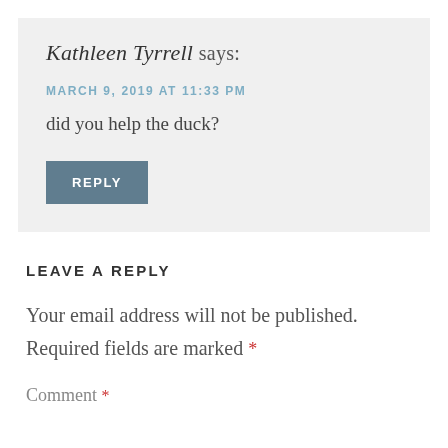Kathleen Tyrrell says:
MARCH 9, 2019 AT 11:33 PM
did you help the duck?
REPLY
LEAVE A REPLY
Your email address will not be published.
Required fields are marked *
Comment *